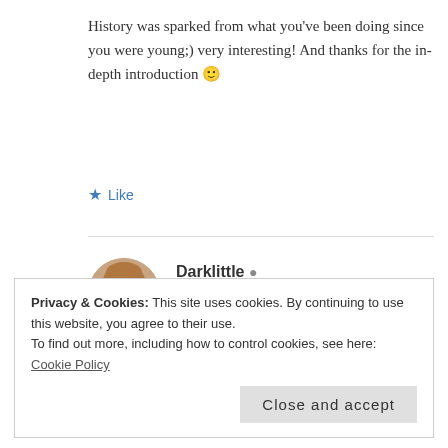History was sparked from what you've been doing since you were young;) very interesting! And thanks for the in-depth introduction 🙂
★ Like
Darklittle 👤
SEPTEMBER 17, 2013 AT 12:58 PM
[Figure (photo): Circular avatar photo of a woman with long hair and glasses]
Privacy & Cookies: This site uses cookies. By continuing to use this website, you agree to their use.
To find out more, including how to control cookies, see here: Cookie Policy
Close and accept